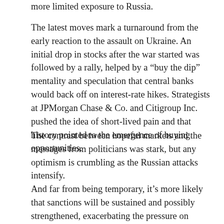more limited exposure to Russia.
The latest moves mark a turnaround from the early reaction to the assault on Ukraine. An initial drop in stocks after the war started was followed by a rally, helped by a “buy the dip” mentality and speculation that central banks would back off on interest-rate hikes. Strategists at JPMorgan Chase & Co. and Citigroup Inc. pushed the idea of short-lived pain and that history pointed to the emergence of buying opportunities.
The contrast between hopeful markets and the messages from politicians was stark, but any optimism is crumbling as the Russian attacks intensify.
And far from being temporary, it’s more likely that sanctions will be sustained and possibly strengthened, exacerbating the pressure on countries already struggling